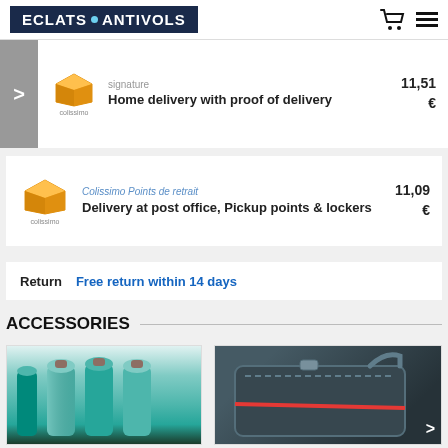ECLATS ANTIVOLS
[Figure (screenshot): Colissimo delivery option: signature. Home delivery with proof of delivery. Price: 11,51 €]
[Figure (screenshot): Colissimo Points de retrait. Delivery at post office, Pickup points & lockers. Price: 11,09 €]
Return  Free return within 14 days
ACCESSORIES
[Figure (photo): Green/teal cylindrical batteries (18650 type) standing upright]
[Figure (photo): Black messenger/shoulder bag with red stripe detail]